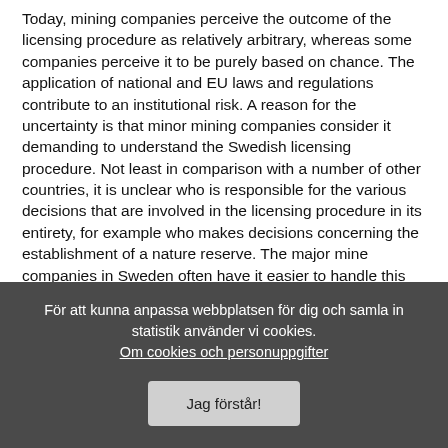Today, mining companies perceive the outcome of the licensing procedure as relatively arbitrary, whereas some companies perceive it to be purely based on chance. The application of national and EU laws and regulations contribute to an institutional risk. A reason for the uncertainty is that minor mining companies consider it demanding to understand the Swedish licensing procedure. Not least in comparison with a number of other countries, it is unclear who is responsible for the various decisions that are involved in the licensing procedure in its entirety, for example who makes decisions concerning the establishment of a nature reserve. The major mine companies in Sweden often have it easier to handle this uncertainty than junior companies, because they are already established in Sweden and may therefore follow the Swedish debate more easily.
För att kunna anpassa webbplatsen för dig och samla in statistik använder vi cookies. Om cookies och personuppgifter
Jag förstår!